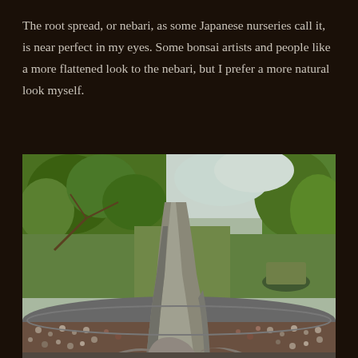The root spread, or nebari, as some Japanese nurseries call it, is near perfect in my eyes. Some bonsai artists and people like a more flattened look to the nebari, but I prefer a more natural look myself.
[Figure (photo): Close-up photograph of a bonsai tree trunk base showing the root nebari spreading at soil level in a large grey bonsai pot filled with gravel/grit substrate. Background shows a nursery setting with multiple bonsai trees and plants in pots.]